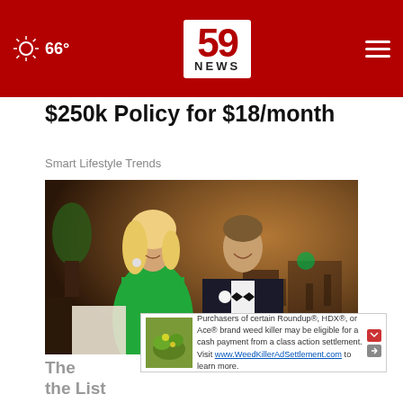66° | 59 NEWS
$250k Policy for $18/month
Smart Lifestyle Trends
[Figure (photo): A couple dressed formally — a woman in a green strapless gown and a man in a black tuxedo with a white boutonniere — posing together at an indoor formal event with tables and guests in the background.]
Purchasers of certain Roundup®, HDX®, or Ace® brand weed killer may be eligible for a cash payment from a class action settlement. Visit www.WeedKillerAdSettlement.com to learn more.
The                                                  e the List